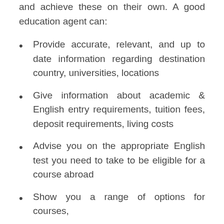and achieve these on their own. A good education agent can:
Provide accurate, relevant, and up to date information regarding destination country, universities, locations
Give information about academic & English entry requirements, tuition fees, deposit requirements, living costs
Advise you on the appropriate English test you need to take to be eligible for a course abroad
Show you a range of options for courses,